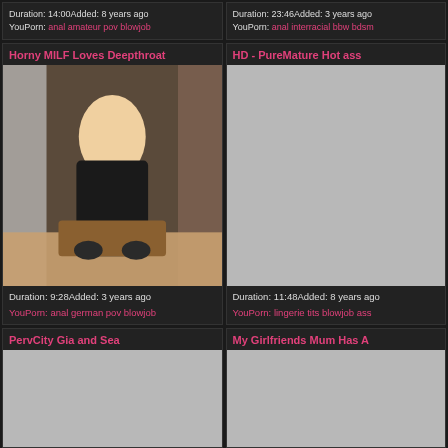Duration: 14:00Added: 8 years ago
YouPorn: anal amateur pov blowjob
Duration: 23:46Added: 3 years ago
YouPorn: anal interracial bbw bdsm
Horny MILF Loves Deepthroat
[Figure (photo): Video thumbnail showing woman in black lingerie]
Duration: 9:28Added: 3 years ago
YouPorn: anal german pov blowjob
HD - PureMature Hot ass
[Figure (photo): Gray placeholder thumbnail]
Duration: 11:48Added: 8 years ago
YouPorn: lingerie tits blowjob ass
PervCity Gia and Sea
[Figure (photo): Gray placeholder thumbnail]
My Girlfriends Mum Has A
[Figure (photo): Gray placeholder thumbnail]